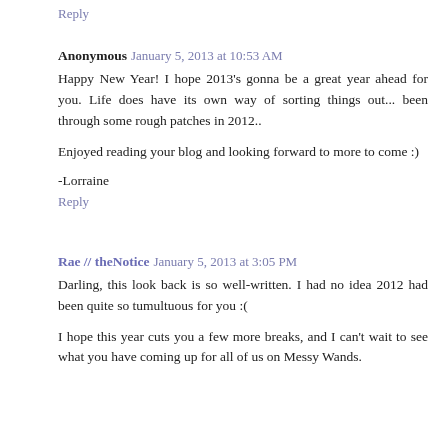Reply
Anonymous January 5, 2013 at 10:53 AM
Happy New Year! I hope 2013's gonna be a great year ahead for you. Life does have its own way of sorting things out... been through some rough patches in 2012..
Enjoyed reading your blog and looking forward to more to come :)
-Lorraine
Reply
Rae // theNotice January 5, 2013 at 3:05 PM
Darling, this look back is so well-written. I had no idea 2012 had been quite so tumultuous for you :(
I hope this year cuts you a few more breaks, and I can't wait to see what you have coming up for all of us on Messy Wands.